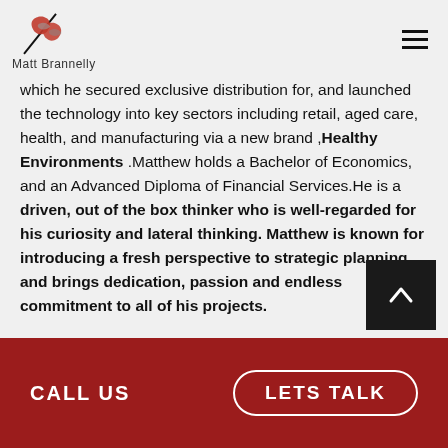Matt Brannelly
which he secured exclusive distribution for, and launched the technology into key sectors including retail, aged care, health, and manufacturing via a new brand ,Healthy Environments .Matthew holds a Bachelor of Economics, and an Advanced Diploma of Financial Services.He is a driven, out of the box thinker who is well-regarded for his curiosity and lateral thinking. Matthew is known for introducing a fresh perspective to strategic planning, and brings dedication, passion and endless commitment to all of his projects.
CALL US   LETS TALK